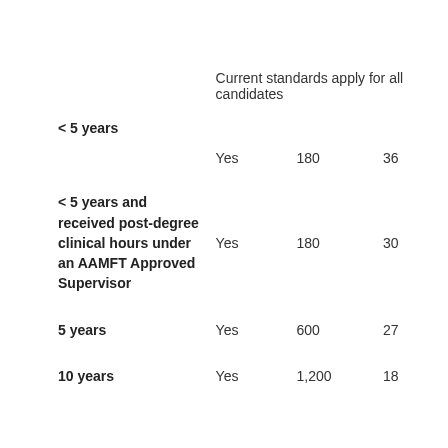|  | Current standards apply for all candidates |  |  |
| --- | --- | --- | --- |
| < 5 years | Yes | 180 | 36 |
| < 5 years and received post-degree clinical hours under an AAMFT Approved Supervisor | Yes | 180 | 30 |
| 5 years | Yes | 600 | 27 |
| 10 years | Yes | 1,200 | 18 |